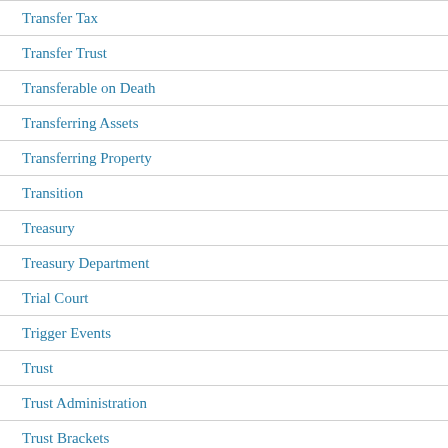Transfer Tax
Transfer Trust
Transferable on Death
Transferring Assets
Transferring Property
Transition
Treasury
Treasury Department
Trial Court
Trigger Events
Trust
Trust Administration
Trust Brackets